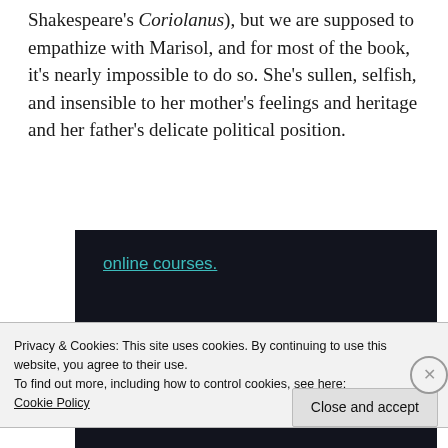Shakespeare's Coriolanus), but we are supposed to empathize with Marisol, and for most of the book, it's nearly impossible to do so. She's sullen, selfish, and insensible to her mother's feelings and heritage and her father's delicate political position.
[Figure (screenshot): Dark banner with teal/cyan underlined text 'online courses.' partially visible at top]
Privacy & Cookies: This site uses cookies. By continuing to use this website, you agree to their use.
To find out more, including how to control cookies, see here:
Cookie Policy
Close and accept